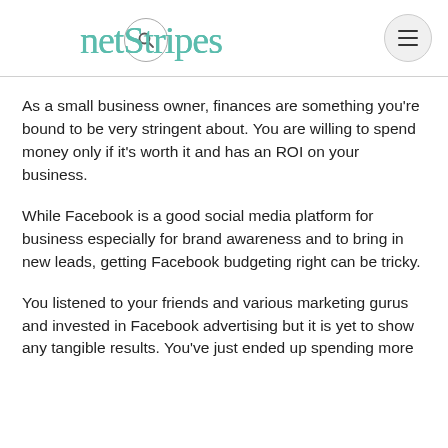netStripes
As a small business owner, finances are something you're bound to be very stringent about. You are willing to spend money only if it's worth it and has an ROI on your business.
While Facebook is a good social media platform for business especially for brand awareness and to bring in new leads, getting Facebook budgeting right can be tricky.
You listened to your friends and various marketing gurus and invested in Facebook advertising but it is yet to show any tangible results. You've just ended up spending more